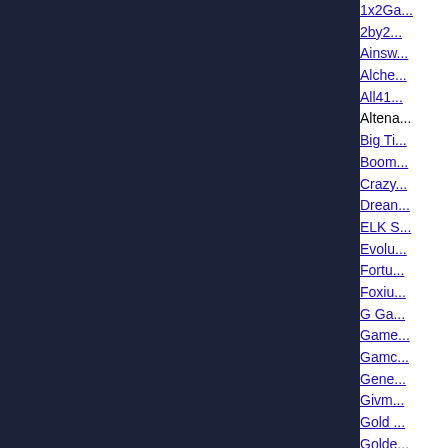[Figure (other): Dark navy blue panel on left side of page]
24Bettle Casino
1x2Ga...
2by2...
Ainsw...
Alche...
All41...
Altena...
Big Ti...
Boom...
Crazy...
Drean...
ELK S...
Evolu...
Fortu...
Foxiu...
G Ga...
Game...
Gamc...
Gene...
Givm...
Gold ...
Golde...
Golde...
Hacks...
iSoftB...
Just f...
Kalan...
Leap ...
Merku...
Neon...
Oryx ...
Peter...
Play M...